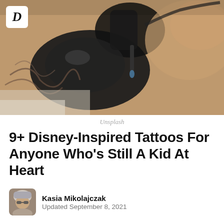[Figure (photo): Close-up photo of a tattoo artist's gloved hand holding a tattoo machine, working on a tattooed arm. The tattoo artist wears black latex gloves. Black and grey tattoo visible on the client's arm.]
Unsplash
9+ Disney-Inspired Tattoos For Anyone Who's Still A Kid At Heart
Kasia Mikolajczak
Updated September 8, 2021